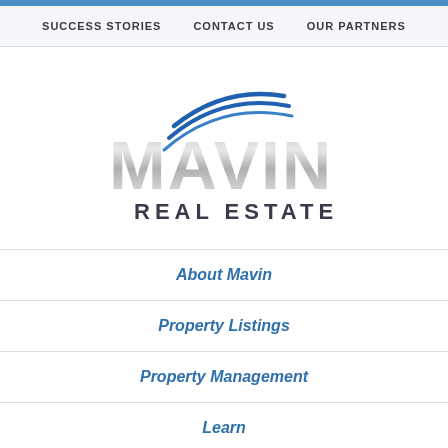SUCCESS STORIES   CONTACT US   OUR PARTNERS
[Figure (logo): Mavin Real Estate logo with silver metallic MAVIN text and blue swoosh lines above, REAL ESTATE in dark gray below]
About Mavin
Property Listings
Property Management
Learn
July 2016 Take Away